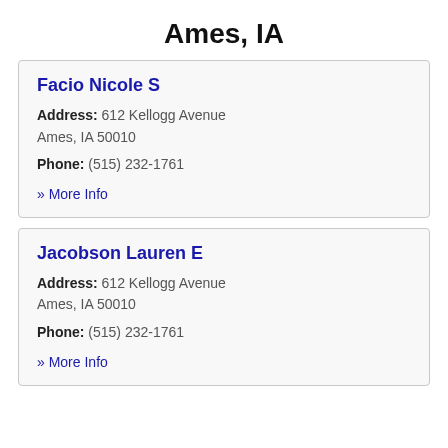Ames, IA
Facio Nicole S
Address: 612 Kellogg Avenue Ames, IA 50010
Phone: (515) 232-1761
» More Info
Jacobson Lauren E
Address: 612 Kellogg Avenue Ames, IA 50010
Phone: (515) 232-1761
» More Info